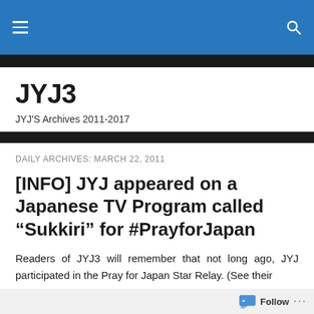JYJ3
JYJ'S Archives 2011-2017
DAILY ARCHIVES: MARCH 22, 2011
[INFO] JYJ appeared on a Japanese TV Program called “Sukkiri” for #PrayforJapan
Readers of JYJ3 will remember that not long ago, JYJ participated in the Pray for Japan Star Relay. (See their